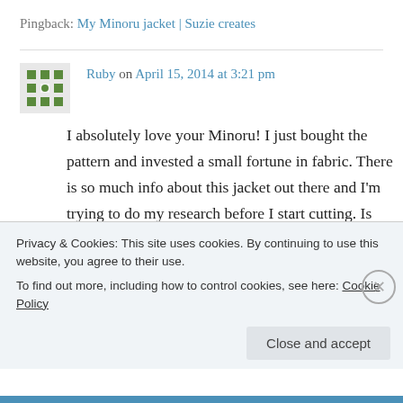Pingback: My Minoru jacket | Suzie creates
Ruby on April 15, 2014 at 3:21 pm
I absolutely love your Minoru! I just bought the pattern and invested a small fortune in fabric. There is so much info about this jacket out there and I'm trying to do my research before I start cutting. Is your polka dot lining an actual lining fabric, ie slippery? I so want a fun lining, but
Privacy & Cookies: This site uses cookies. By continuing to use this website, you agree to their use.
To find out more, including how to control cookies, see here: Cookie Policy
Close and accept